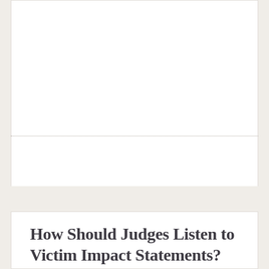How Should Judges Listen to Victim Impact Statements?